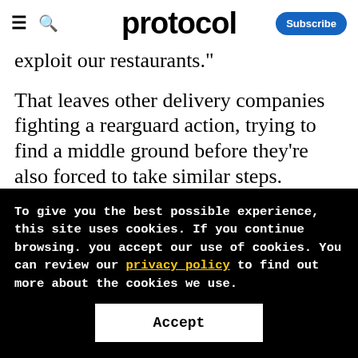protocol
exploit our restaurants."
That leaves other delivery companies fighting a rearguard action, trying to find a middle ground before they're also forced to take similar steps.
Grubhub's CEO Matt Maloney already said in the company's earnings call on May 7 that the
To give you the best possible experience, this site uses cookies. If you continue browsing. you accept our use of cookies. You can review our privacy policy to find out more about the cookies we use.
Accept